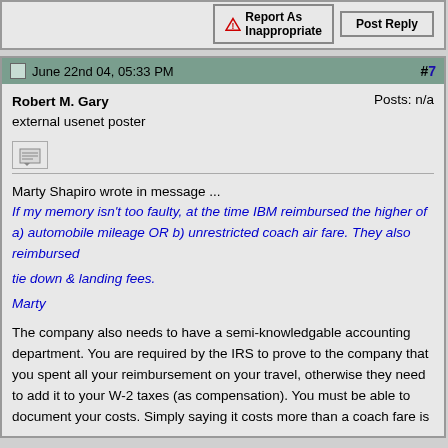Report As Inappropriate | Post Reply
June 22nd 04, 05:33 PM  #7
Robert M. Gary
external usenet poster
Posts: n/a
Marty Shapiro wrote in message ...
If my memory isn't too faulty, at the time IBM reimbursed the higher of a) automobile mileage OR b) unrestricted coach air fare. They also reimbursed
tie down & landing fees.

Marty
The company also needs to have a semi-knowledgable accounting department. You are required by the IRS to prove to the company that you spent all your reimbursement on your travel, otherwise they need to add it to your W-2 taxes (as compensation). You must be able to document your costs. Simply saying it costs more than a coach fare is